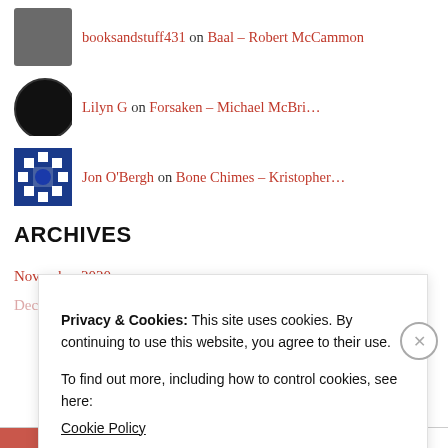booksandstuff431 on Baal – Robert McCammon
Lilyn G on Forsaken – Michael McBri…
Jon O'Bergh on Bone Chimes – Kristopher…
ARCHIVES
November 2020
December 2019
Privacy & Cookies: This site uses cookies. By continuing to use this website, you agree to their use.
To find out more, including how to control cookies, see here:
Cookie Policy
Close and accept